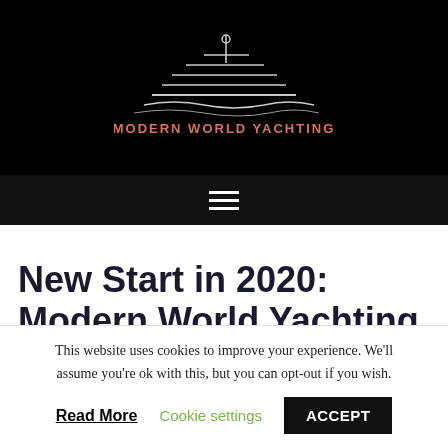[Figure (logo): Modern World Yachting logo: stylized yacht lines in white/grey with salmon/coral colored text 'MODERN WORLD YACHTING' on black background]
New Start in 2020: Modern World Yachting
This website uses cookies to improve your experience. We'll assume you're ok with this, but you can opt-out if you wish.
Read More | Cookie settings | ACCEPT